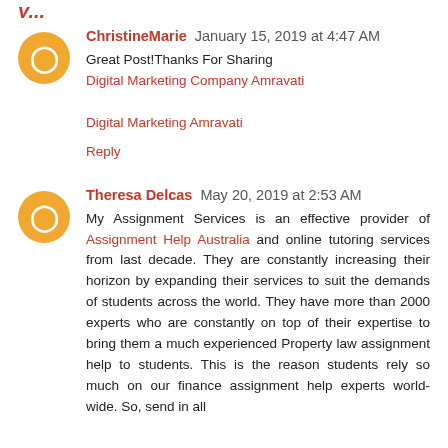ChristineMarie January 15, 2019 at 4:47 AM
Great Post!Thanks For Sharing
Digital Marketing Company Amravati

Digital Marketing Amravati

Reply
Theresa Delcas May 20, 2019 at 2:53 AM
My Assignment Services is an effective provider of Assignment Help Australia and online tutoring services from last decade. They are constantly increasing their horizon by expanding their services to suit the demands of students across the world. They have more than 2000 experts who are constantly on top of their expertise to bring them a much experienced Property law assignment help to students. This is the reason students rely so much on our finance assignment help experts world-wide. So, send in all